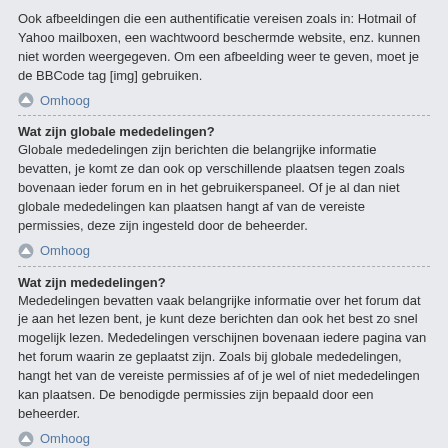Ook afbeeldingen die een authentificatie vereisen zoals in: Hotmail of Yahoo mailboxen, een wachtwoord beschermde website, enz. kunnen niet worden weergegeven. Om een afbeelding weer te geven, moet je de BBCode tag [img] gebruiken.
Omhoog
Wat zijn globale mededelingen?
Globale mededelingen zijn berichten die belangrijke informatie bevatten, je komt ze dan ook op verschillende plaatsen tegen zoals bovenaan ieder forum en in het gebruikerspaneel. Of je al dan niet globale mededelingen kan plaatsen hangt af van de vereiste permissies, deze zijn ingesteld door de beheerder.
Omhoog
Wat zijn mededelingen?
Mededelingen bevatten vaak belangrijke informatie over het forum dat je aan het lezen bent, je kunt deze berichten dan ook het best zo snel mogelijk lezen. Mededelingen verschijnen bovenaan iedere pagina van het forum waarin ze geplaatst zijn. Zoals bij globale mededelingen, hangt het van de vereiste permissies af of je wel of niet mededelingen kan plaatsen. De benodigde permissies zijn bepaald door een beheerder.
Omhoog
Wat zijn sticky onderwerpen?